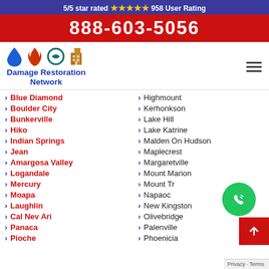5/5 star rated ⭐⭐⭐⭐⭐ 958 User Rating
888-603-5056
[Figure (logo): Damage Restoration Network logo with water, fire, hurricane, and building icons]
Blue Diamond
Boulder City
Bunkerville
Hiko
Indian Springs
Jean
Amargosa Valley
Logandale
Mercury
Moapa
Laughlin
Cal Nev Ari
Panaca
Pioche
Highmount
Kerhonkson
Lake Hill
Lake Katrine
Malden On Hudson
Maplecrest
Margaretville
Mount Marion
Mount Tr[emont]
Napanoc[h]
New Kingston
Olivebridge
Palenville
Phoenicia